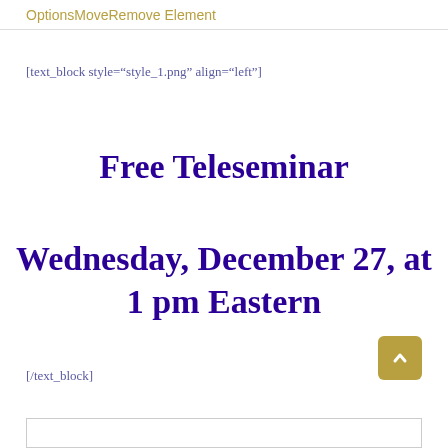OptionsMoveRemove Element
[text_block style="style_1.png" align="left"]
Free Teleseminar
Wednesday, December 27, at 1 pm Eastern
[/text_block]